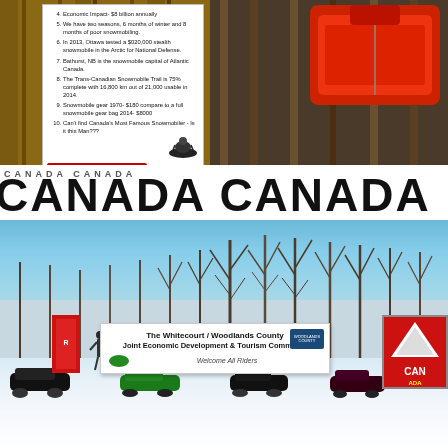[Figure (photo): Top portion showing a wooden display booth with a white informational sign listing facts about snowmobiling in Canada (numbered 4-10), a World Snowmobile Invasion 2014 logo, and a red jacket displayed on shelving in the background. A large CANADA text banner runs across the bottom of this top section.]
[Figure (photo): Outdoor winter scene with bare trees against a blue sky, snow-covered ground. A welcome banner reads 'The Whitecourt / Woodlands County Joint Economic Development & Tourism Committee - Welcome All Riders'. People and snowmobiles are visible in the foreground. Red and Canada-themed signs are on the sides.]